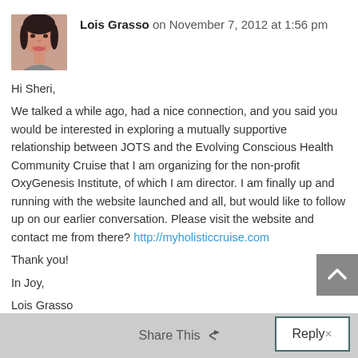Lois Grasso on November 7, 2012 at 1:56 pm
Hi Sheri,

We talked a while ago, had a nice connection, and you said you would be interested in exploring a mutually supportive relationship between JOTS and the Evolving Conscious Health Community Cruise that I am organizing for the non-profit OxyGenesis Institute, of which I am director. I am finally up and running with the website launched and all, but would like to follow up on our earlier conversation. Please visit the website and contact me from there? http://myholisticcruise.com

Thank you!

In Joy,

Lois Grasso
Share This  Reply